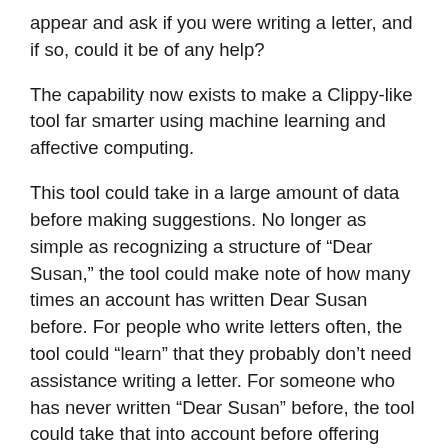appear and ask if you were writing a letter, and if so, could it be of any help?
The capability now exists to make a Clippy-like tool far smarter using machine learning and affective computing.
This tool could take in a large amount of data before making suggestions. No longer as simple as recognizing a structure of “Dear Susan,” the tool could make note of how many times an account has written Dear Susan before. For people who write letters often, the tool could “learn” that they probably don’t need assistance writing a letter. For someone who has never written “Dear Susan” before, the tool could take that into account before offering advice.
Using affective computing, the tool could monitor your facial expressions, or sync up with a wearable device, to assess your emotions as you engage with a product. If